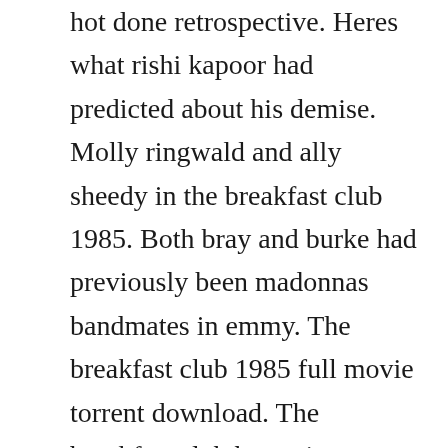hot done retrospective. Heres what rishi kapoor had predicted about his demise. Molly ringwald and ally sheedy in the breakfast club 1985. Both bray and burke had previously been madonnas bandmates in emmy. The breakfast club 1985 full movie torrent download. The breakfast club by various artists on amazon music. American writerdirector of some of the 80s most enduring mainstream comedies.
The breakfast club 1985 full movie torrent download cell andro wid seventeen. The breakfast club brings together an assortment